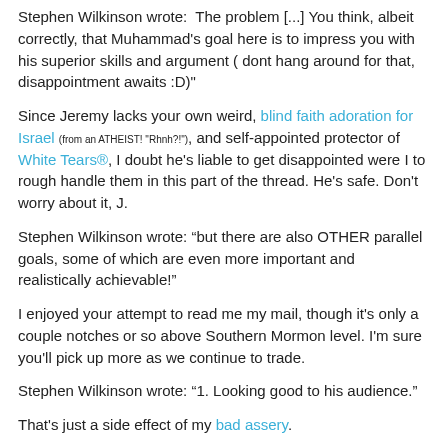Stephen Wilkinson wrote:  The problem [...] You think, albeit correctly, that Muhammad's goal here is to impress you with his superior skills and argument ( dont hang around for that, disappointment awaits :D)"
Since Jeremy lacks your own weird, blind faith adoration for Israel (from an ATHEIST! "Rhnh?!"), and self-appointed protector of White Tears®, I doubt he's liable to get disappointed were I to rough handle them in this part of the thread. He's safe. Don't worry about it, J.
Stephen Wilkinson wrote: “but there are also OTHER parallel goals, some of which are even more important and realistically achievable!”
I enjoyed your attempt to read me my mail, though it's only a couple notches or so above Southern Mormon level. I'm sure you'll pick up more as we continue to trade.
Stephen Wilkinson wrote: “1. Looking good to his audience.”
That's just a side effect of my bad assery.